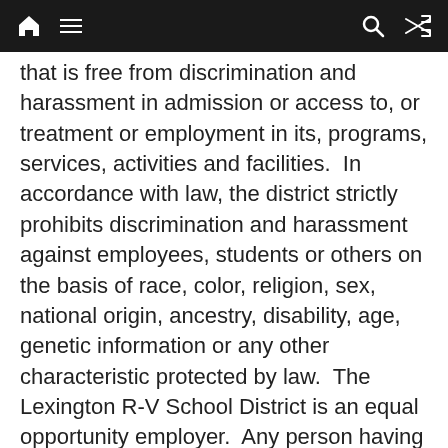[navigation bar with home, menu, search, and shuffle icons]
that is free from discrimination and harassment in admission or access to, or treatment or employment in its, programs, services, activities and facilities.  In accordance with law, the district strictly prohibits discrimination and harassment against employees, students or others on the basis of race, color, religion, sex, national origin, ancestry, disability, age, genetic information or any other characteristic protected by law.  The Lexington R-V School District is an equal opportunity employer.  Any person having inquiries concerning the Lexington R-V School District's compliance with the regulations implementing Title VI of the Civil Rights Act of 1964, 504 of the Rehabilitation Act of 1973 (Section 504), or Title II of the American of Disabilities Act of 1990 (ADA) is directed to contact the Superintendent at the following address:  817 S.